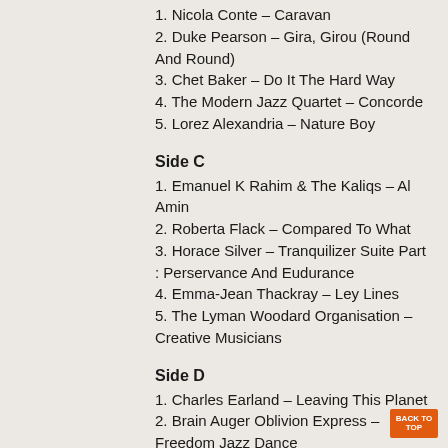1. Nicola Conte – Caravan
2. Duke Pearson – Gira, Girou (Round And Round)
3. Chet Baker – Do It The Hard Way
4. The Modern Jazz Quartet – Concorde
5. Lorez Alexandria – Nature Boy
Side C
1. Emanuel K Rahim & The Kaliqs – Al Amin
2. Roberta Flack – Compared To What
3. Horace Silver – Tranquilizer Suite Part : Perservance And Eudurance
4. Emma-Jean Thackray – Ley Lines
5. The Lyman Woodard Organisation – Creative Musicians
Side D
1. Charles Earland – Leaving This Planet
2. Brain Auger Oblivion Express – Freedom Jazz Dance
3. Johnny Mercer – That Old Black Magic
4. Roy Ayers – A Tear To A Smile
5. Lonnie Liston Smith – Summer Days